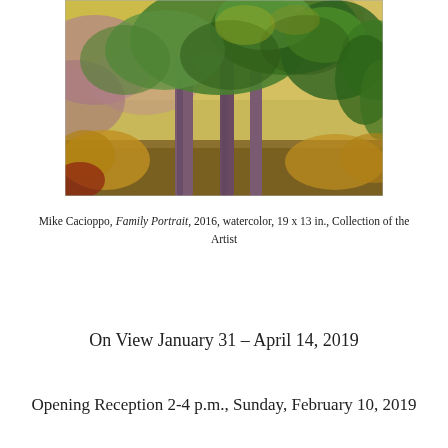[Figure (illustration): Watercolor painting of trees with lush green foliage and colorful background, depicting a landscape with browns, yellows, greens, and purples.]
Mike Cacioppo, Family Portrait, 2016, watercolor, 19 x 13 in., Collection of the Artist
On View January 31 – April 14, 2019
Opening Reception 2-4 p.m., Sunday, February 10, 2019